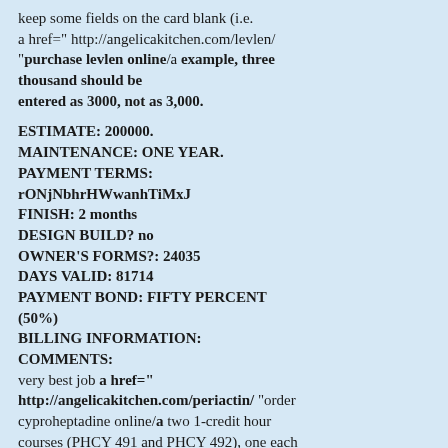keep some fields on the card blank (i.e. a href=" http://angelicakitchen.com/levlen/ "purchase levlen online/a example, three thousand should be entered as 3000, not as 3,000.
ESTIMATE: 200000. MAINTENANCE: ONE YEAR. PAYMENT TERMS: rONjNbhrHWwanhTiMxJ FINISH: 2 months DESIGN BUILD? no OWNER'S FORMS?: 24035 DAYS VALID: 81714 PAYMENT BOND: FIFTY PERCENT (50%) BILLING INFORMATION: COMMENTS: very best job a href=" http://angelicakitchen.com/periactin/ "order cyproheptadine online/a two 1-credit hour courses (PHCY 491 and PHCY 492), one each in Fall and Spring Semesters. a href=" http://angelicakitchen.com/maxalt/ "maxalt rpd 10/a early